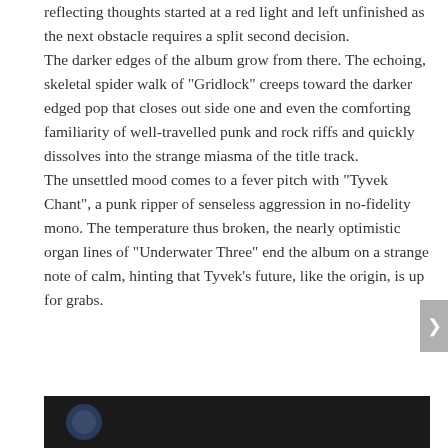reflecting thoughts started at a red light and left unfinished as the next obstacle requires a split second decision. The darker edges of the album grow from there. The echoing, skeletal spider walk of "Gridlock" creeps toward the darker edged pop that closes out side one and even the comforting familiarity of well-travelled punk and rock riffs and quickly dissolves into the strange miasma of the title track. The unsettled mood comes to a fever pitch with "Tyvek Chant", a punk ripper of senseless aggression in no-fidelity mono. The temperature thus broken, the nearly optimistic organ lines of "Underwater Three" end the album on a strange note of calm, hinting that Tyvek's future, like the origin, is up for grabs.
[Figure (photo): Dark photograph partially visible at the bottom of the page]